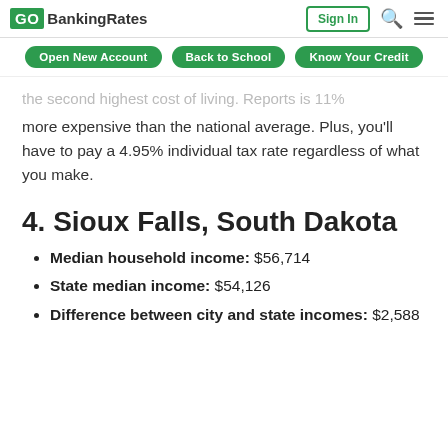GO BankingRates | Sign In
Open New Account   Back to School   Know Your Credit
the second highest cost of living. Reports is 11% more expensive than the national average. Plus, you'll have to pay a 4.95% individual tax rate regardless of what you make.
4. Sioux Falls, South Dakota
Median household income: $56,714
State median income: $54,126
Difference between city and state incomes: $2,588